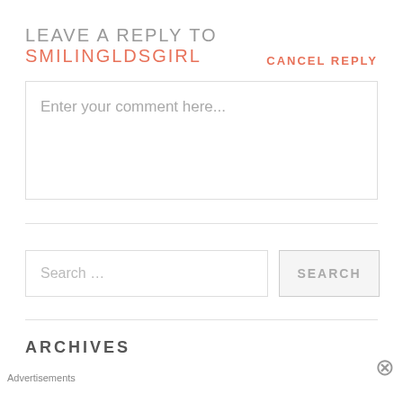LEAVE A REPLY TO SMILINGLDSGIRL
CANCEL REPLY
Enter your comment here...
Search ...
SEARCH
ARCHIVES
Advertisements
[Figure (photo): Victoria's Secret advertisement banner showing a model and the text SHOP THE COLLECTION with a SHOP NOW button]